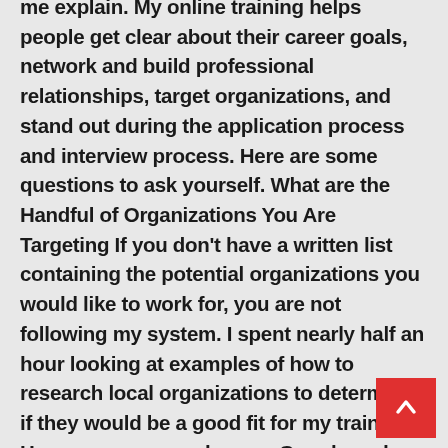me explain. My online training helps people get clear about their career goals, network and build professional relationships, target organizations, and stand out during the application process and interview process. Here are some questions to ask yourself. What are the Handful of Organizations You Are Targeting If you don't have a written list containing the potential organizations you would like to work for, you are not following my system. I spent nearly half an hour looking at examples of how to research local organizations to determine if they would be a good fit for my training. However, you can also use Google and